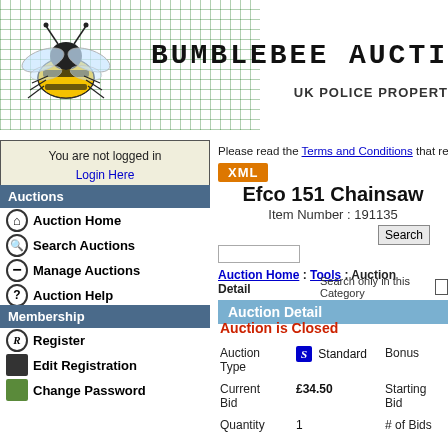[Figure (illustration): Bumblebee Auctions website header banner with a bumblebee on a green circuit board background, with the text BUMBLEBEE AUCTI... and UK POLICE PROPERT...]
You are not logged in
Login Here
Auctions
Auction Home
Search Auctions
Manage Auctions
Auction Help
Membership
Register
Edit Registration
Change Password
Please read the Terms and Conditions that relate to u...
XML
Efco 151 Chainsaw
Item Number : 191135
Search
Auction Home : Tools : Auction Detail
Search only in this Category
Auction Detail
Auction is Closed
| Field | Value | Field | Value |
| --- | --- | --- | --- |
| Auction Type | S Standard | Bonus |  |
| Current Bid | £34.50 | Starting Bid |  |
| Quantity | 1 | # of Bids |  |